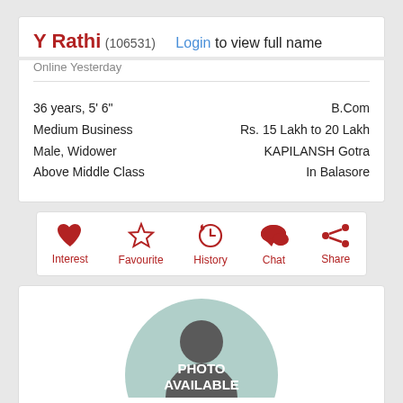Y Rathi (106531) Login to view full name
Online Yesterday
36 years, 5' 6"
Medium Business
Male, Widower
Above Middle Class
B.Com
Rs. 15 Lakh to 20 Lakh
KAPILANSH Gotra
In Balasore
[Figure (infographic): Action icons row: Interest (heart), Favourite (star), History (clock with arrow), Chat (speech bubble), Share (share icon), all in dark red with labels below]
[Figure (photo): Placeholder silhouette photo with teal/mint circle background and text PHOTO AVAILABLE]